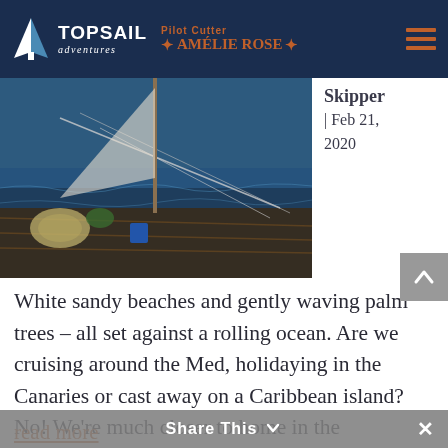Topsail Adventures — Pilot Cutter AMELIE ROSE
[Figure (photo): Photograph of sailboat deck with ropes and the sea visible in the background, taken aboard a pilot cutter.]
Skipper | Feb 21, 2020
White sandy beaches and gently waving palm trees – all set against a rolling ocean. Are we cruising around the Med, holidaying in the Canaries or cast away on a Caribbean island? No! We're much closer to home in the wonderful Isles of Scilly. Loved and feared in almost equal measure by sailors throughout history, what is it that makes the islands such a wonderful (but nerve-wracking) sailing destination?
read more
Share This